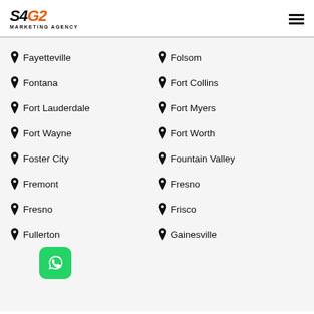[Figure (logo): S4G2 Marketing Agency logo with hamburger menu icon]
Fayetteville
Folsom
Fontana
Fort Collins
Fort Lauderdale
Fort Myers
Fort Wayne
Fort Worth
Foster City
Fountain Valley
Fremont
Fresno
Fresno
Frisco
Fullerton
Gainesville
[Figure (other): WhatsApp chat button overlay]